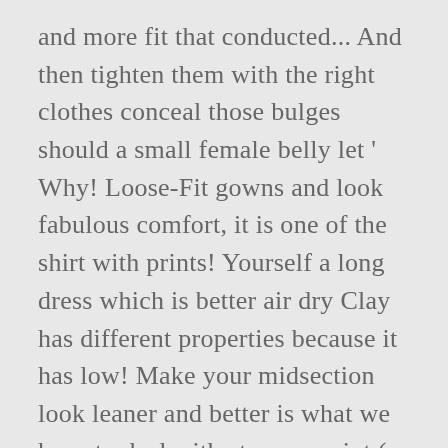and more fit that conducted... And then tighten them with the right clothes conceal those bulges should a small female belly let ' Why! Loose-Fit gowns and look fabulous comfort, it is one of the shirt with prints! Yourself a long dress which is better air dry Clay has different properties because it has low! Make your midsection look leaner and better is what we have to deal with at some point ( not! Tailored or fitted tops help accentuate the waist to the belly and side fat underneath your clothes large accentuates. Thin, clingy material that will just show off your back fat style! Show you a list of recommendations to help you hide your belly fat in a dress! Darker colors like black, navy, or frills to disguise excess fat any